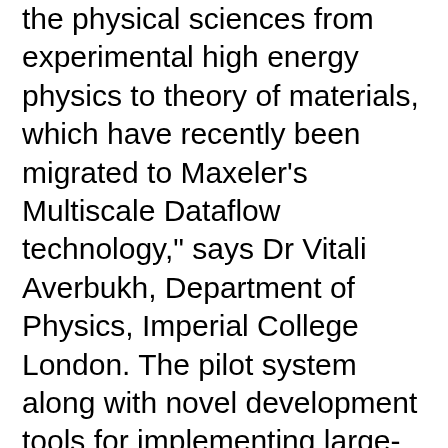the physical sciences from experimental high energy physics to theory of materials, which have recently been migrated to Maxeler's Multiscale Dataflow technology," says Dr Vitali Averbukh, Department of Physics, Imperial College London. The pilot system along with novel development tools for implementing large-scale compute-intensive scientific applications on Maxeler's proven Multiscale Dataflow technology was delivered under a contract awarded within a pre-commercial procurement of the EU PRACE-3IP project. Deploying this pilot system enables QCD physicists and other scientists to exploit this revolutionary technology, for instance, to extend our understanding of how quarks bind to form